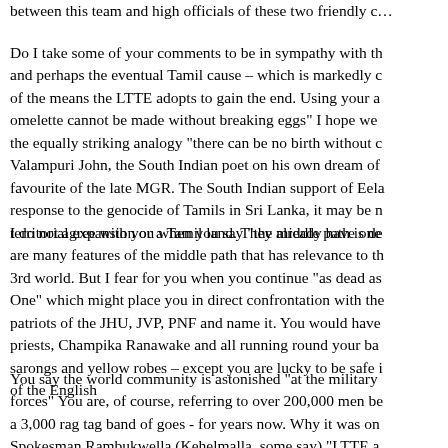between this team and high officials of these two friendly c...
Do I take some of your comments to be in sympathy with th... and perhaps the eventual Tamil cause – which is markedly c... of the means the LTTE adopts to gain the end. Using your a... omelette cannot be made without breaking eggs" I hope we... the equally striking analogy "there can be no birth without c... Valampuri John, the South Indian poet on his own dream of... favourite of the late MGR. The South Indian support of Eela... response to the genocide of Tamils in Sri Lanka, it may be n... territorial expansion or a Tamil land. They already have one...
I do not agree with you when you say "the middle path is de... are many features of the middle path that has relevance to th... 3rd world. But I fear for you when you continue "as dead as... One" which might place you in direct confrontation with the... patriots of the JHU, JVP, PNF and name it. You would have... priests, Champika Ranawake and all running round your ba... sarongs and yellow robes – except you are lucky to be safe i... of the English
You say the world community is astonished "at the military... forces" You are, of course, referring to over 200,000 men be... a 3,000 rag tag band of goes - for years now. Why it was on... Spokesman Rambukwella (Kehelmalla, some say) "LTTE a... within a single sq. km" The cantankerous Wickramanavake...